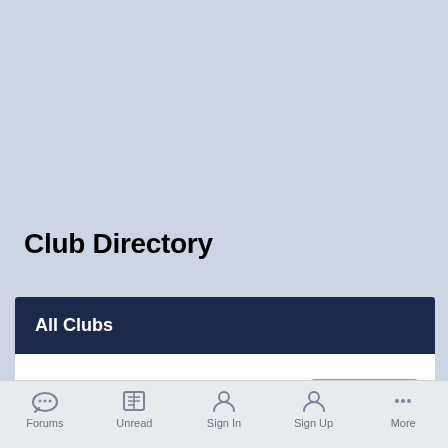Club Directory
All Clubs
SORT BY
Forums  Unread  Sign In  Sign Up  More